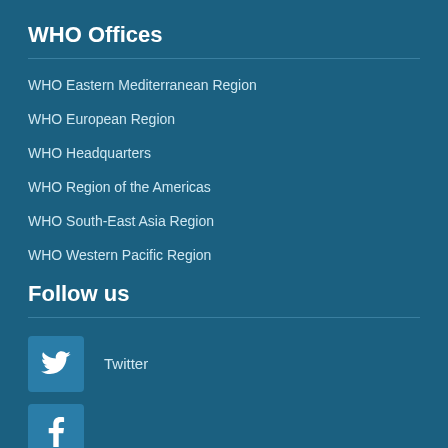WHO Offices
WHO Eastern Mediterranean Region
WHO European Region
WHO Headquarters
WHO Region of the Americas
WHO South-East Asia Region
WHO Western Pacific Region
Follow us
Twitter
[Figure (logo): Twitter bird icon in a blue square box]
[Figure (logo): Facebook 'f' icon in a blue square box]